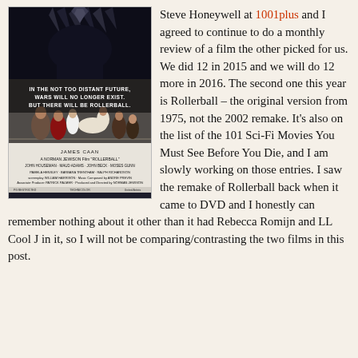[Figure (photo): Movie poster for Rollerball (1975) featuring dark futuristic imagery with armored figures and text: 'IN THE NOT TOO DISTANT FUTURE, WARS WILL NO LONGER EXIST. BUT THERE WILL BE ROLLERBALL.' Credits include James Caan, directed by Norman Jewison.]
Steve Honeywell at 1001plus and I agreed to continue to do a monthly review of a film the other picked for us. We did 12 in 2015 and we will do 12 more in 2016. The second one this year is Rollerball – the original version from 1975, not the 2002 remake. It's also on the list of the 101 Sci-Fi Movies You Must See Before You Die, and I am slowly working on those entries. I saw the remake of Rollerball back when it came to DVD and I honestly can remember nothing about it other than it had Rebecca Romijn and LL Cool J in it, so I will not be comparing/contrasting the two films in this post.